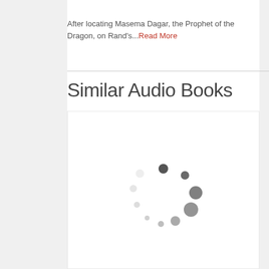After locating Masema Dagar, the Prophet of the Dragon, on Rand's...Read More
Similar Audio Books
[Figure (other): Loading spinner animation represented by dots arranged in a circle]